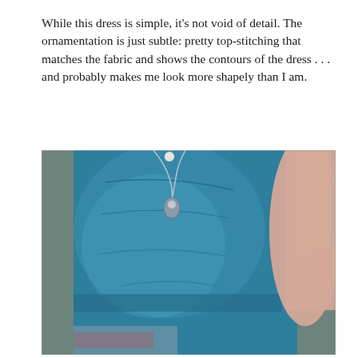While this dress is simple, it's not void of detail. The ornamentation is just subtle: pretty top-stitching that matches the fabric and shows the contours of the dress . . . and probably makes me look more shapely than I am.
[Figure (photo): Close-up photo of a woman wearing a teal/blue sleeveless dress with subtle top-stitching details outlining the bodice contours. A silver chain necklace with a pendant is visible. Green foliage is blurred in the background.]